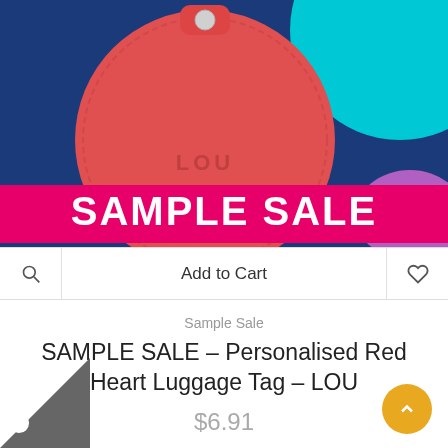[Figure (photo): Product photo showing a red heart-shaped personalised luggage tag with 'LOU' embossed, on a dark navy background with cyan and pink decorative circles, overlaid with a hot-pink 'SAMPLE SALE' banner]
Add to Cart
Sample Sale
SAMPLE SALE – Personalised Red Heart Luggage Tag – LOU
$6.91